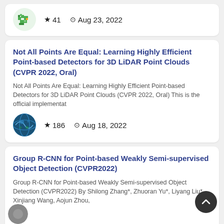★ 41   🕐 Aug 23, 2022
Not All Points Are Equal: Learning Highly Efficient Point-based Detectors for 3D LiDAR Point Clouds (CVPR 2022, Oral)
Not All Points Are Equal: Learning Highly Efficient Point-based Detectors for 3D LiDAR Point Clouds (CVPR 2022, Oral) This is the official implementat
★ 186   🕐 Aug 18, 2022
Group R-CNN for Point-based Weakly Semi-supervised Object Detection (CVPR2022)
Group R-CNN for Point-based Weakly Semi-supervised Object Detection (CVPR2022) By Shilong Zhang*, Zhuoran Yu*, Liyang Liu*, Xinjiang Wang, Aojun Zhou,